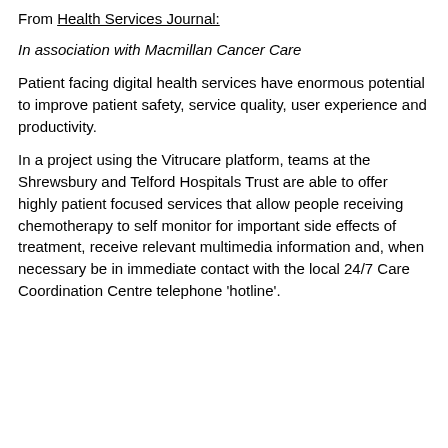From Health Services Journal:
In association with Macmillan Cancer Care
Patient facing digital health services have enormous potential to improve patient safety, service quality, user experience and productivity.
In a project using the Vitrucare platform, teams at the Shrewsbury and Telford Hospitals Trust are able to offer highly patient focused services that allow people receiving chemotherapy to self monitor for important side effects of treatment, receive relevant multimedia information and, when necessary be in immediate contact with the local 24/7 Care Coordination Centre telephone 'hotline'.